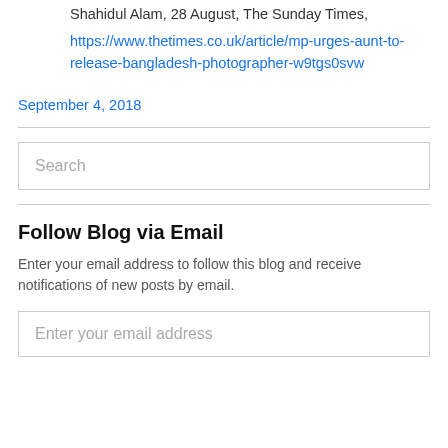Shahidul Alam, 28 August, The Sunday Times, https://www.thetimes.co.uk/article/mp-urges-aunt-to-release-bangladesh-photographer-w9tgs0svw
September 4, 2018
Search
Follow Blog via Email
Enter your email address to follow this blog and receive notifications of new posts by email.
Enter your email address